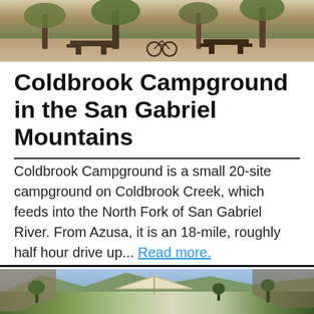[Figure (photo): Outdoor campground photo showing picnic tables under trees with dappled light and a dirt ground area]
Coldbrook Campground in the San Gabriel Mountains
Coldbrook Campground is a small 20-site campground on Coldbrook Creek, which feeds into the North Fork of San Gabriel River. From Azusa, it is an 18-mile, roughly half hour drive up... Read more.
[Figure (photo): Landscape photo of campground area with mountains, trees, and a shade canopy structure visible]